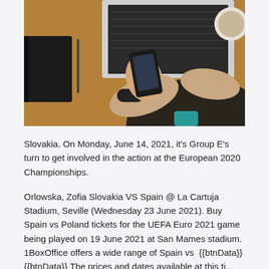[Figure (photo): Overhead view of a person holding a smartphone at a desk with a laptop, notebook, pen, and a coffee cup. The person is wearing a black wristband/smartwatch and a teal collar.]
Slovakia. On Monday, June 14, 2021, it's Group E's turn to get involved in the action at the European 2020 Championships.
Orlowska, Zofia Slovakia VS Spain @ La Cartuja Stadium, Seville (Wednesday 23 June 2021). Buy Spain vs Poland tickets for the UEFA Euro 2021 game being played on 19 June 2021 at San Mames stadium. 1BoxOffice offers a wide range of Spain vs  {{btnData}} {{btnData}} The prices and dates available at this ti...